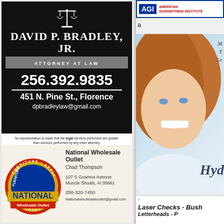[Figure (illustration): David P. Bradley Jr. Attorney at Law advertisement on black background with scales of justice icon]
No representation is made that the legal services performed are greater than services performed by any other attorney.
[Figure (illustration): National Wholesale Outlet circular logo with furniture, appliances, home goods, tools categories]
National Wholesale Outlet
Chad Thompson
107 S Gusmus Avenue
Muscle Shoals, Al 35661
256-320-7450
Nationalwholesaleoutlet@gmail.com
[Figure (logo): AGI American Gunsmithing Institute logo banner]
a
s
[Figure (photo): Smiling woman with Hyd script overlay, hydrafacial or beauty treatment advertisement]
Laser Checks - Bus
Letterheads - P